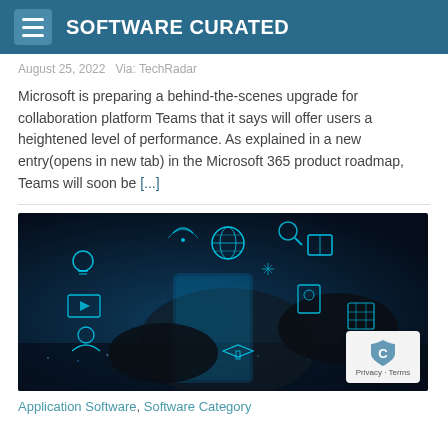SOFTWARE CURATED
August 25, 2022   Via: TechRadar
Microsoft is preparing a behind-the-scenes upgrade for collaboration platform Teams that it says will offer users a heightened level of performance. As explained in a new entry(opens in new tab) in the Microsoft 365 product roadmap, Teams will soon be [...]
[Figure (photo): Two hands interacting with a tablet device against a dark blue background, surrounded by glowing cyan technology and app icons including globe, book, lightbulb, video, user, graduation cap, and other digital icons floating in the air]
Application Software, Software Category